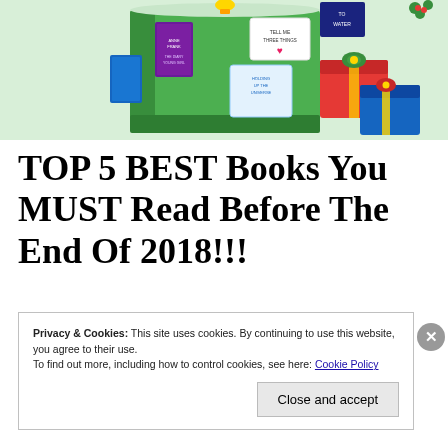[Figure (illustration): Christmas-themed illustration with a large green book surrounded by book covers (Anne Frank: The Diary of a Young Girl, Tell Me Three Things, Holding Up the Universe, etc.) and colorful gift boxes with ribbons and bows, on a light green background.]
TOP 5 BEST Books You MUST Read Before The End Of 2018!!!
Privacy & Cookies: This site uses cookies. By continuing to use this website, you agree to their use.
To find out more, including how to control cookies, see here: Cookie Policy

[Close and accept]